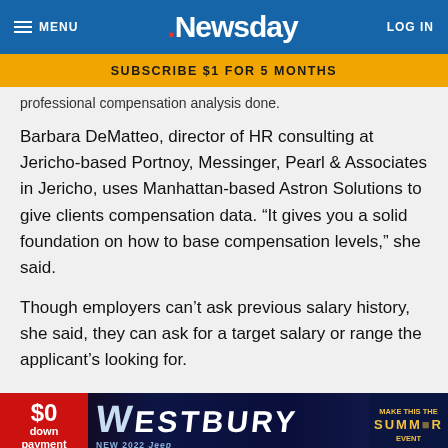MENU | Newsday | LOG IN
SUBSCRIBE $1 FOR 5 MONTHS
professional compensation analysis done.
Barbara DeMatteo, director of HR consulting at Jericho-based Portnoy, Messinger, Pearl & Associates in Jericho, uses Manhattan-based Astron Solutions to give clients compensation data. “It gives you a solid foundation on how to base compensation levels,” she said.
Though employers can’t ask previous salary history, she said, they can ask for a target salary or range the applicant’s looking for.
Employers would be best served training anyone who is part of… not be discussed. She said it even needs to be with the one person
[Figure (advertisement): Westbury Jeep dealer ad: $0 down payment, NEW 2022 Jeep, Make This The Summer Event banner]